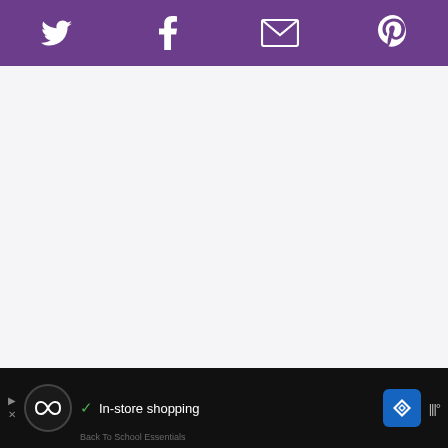Twitter | Facebook | Email | Pinterest (social share bar)
[Figure (other): Large white/light gray blank content area (image placeholder or loaded content area)]
2
WHAT'S NEXT → Strawberry Scones
Ingredients
1 1/4 Cup...
[Figure (other): Advertisement bar at bottom: in-store shopping ad with checkmark, circular logo, navigation icon, and widget icon. Sub-text: Back To School Essentials]